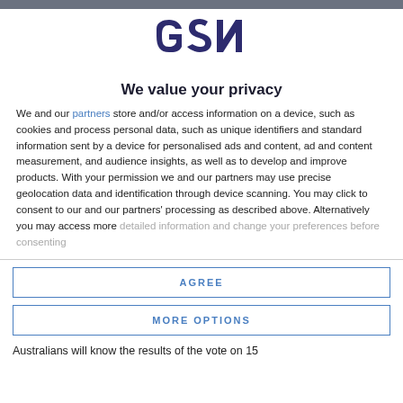[Figure (logo): GSN logo in dark navy/purple stylized text]
We value your privacy
We and our partners store and/or access information on a device, such as cookies and process personal data, such as unique identifiers and standard information sent by a device for personalised ads and content, ad and content measurement, and audience insights, as well as to develop and improve products. With your permission we and our partners may use precise geolocation data and identification through device scanning. You may click to consent to our and our partners' processing as described above. Alternatively you may access more detailed information and change your preferences before consenting
AGREE
MORE OPTIONS
Australians will know the results of the vote on 15